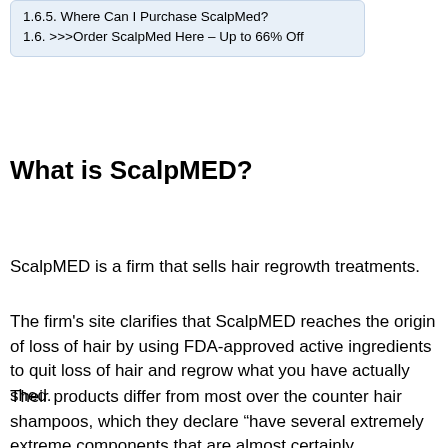1.6.5. Where Can I Purchase ScalpMed?
1.6. >>>Order ScalpMed Here – Up to 66% Off
What is ScalpMED?
ScalpMED is a firm that sells hair regrowth treatments.
The firm's site clarifies that ScalpMED reaches the origin of loss of hair by using FDA-approved active ingredients to quit loss of hair and regrow what you have actually shed.
Their products differ from most over the counter hair shampoos, which they declare “have several extremely extreme components that are almost certainly contributing to